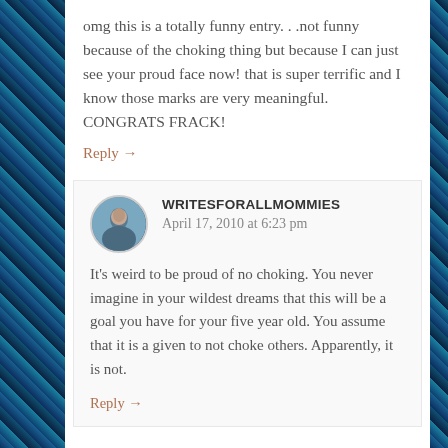omg this is a totally funny entry. . .not funny because of the choking thing but because I can just see your proud face now! that is super terrific and I know those marks are very meaningful. CONGRATS FRACK!
Reply →
WRITESFORALLMOMMIES
April 17, 2010 at 6:23 pm
It's weird to be proud of no choking. You never imagine in your wildest dreams that this will be a goal you have for your five year old. You assume that it is a given to not choke others. Apparently, it is not.
Reply →